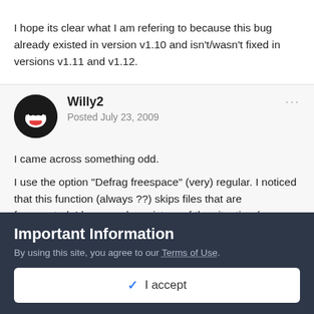I hope its clear what I am refering to because this bug already existed in version v1.10 and isn't/wasn't fixed in versions v1.11 and v1.12.
Willy2
Posted July 23, 2009
I came across something odd.
I use the option "Defrag freespace" (very) regular. I noticed that this function (always ??) skips files that are fragmented. I have made a picture of the situation (see attachment). There was a file in 10...
Important Information
By using this site, you agree to our Terms of Use.
✓  I accept